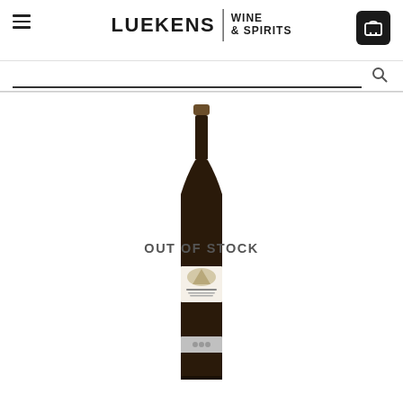[Figure (logo): Luekens Wine & Spirits logo with hamburger menu icon on left and shopping cart icon on right]
[Figure (photo): A wine bottle (red wine, dark bottle) with a label reading Chateau something, displayed with OUT OF STOCK text overlay in the middle of the bottle]
OUT OF STOCK